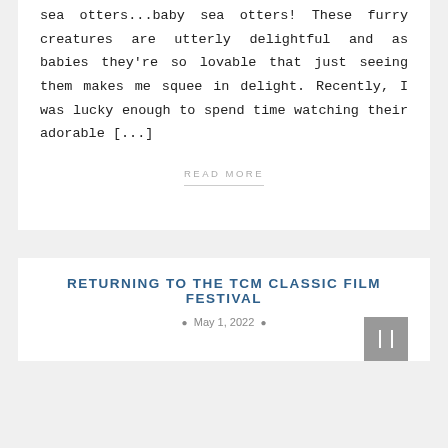sea otters...baby sea otters! These furry creatures are utterly delightful and as babies they're so lovable that just seeing them makes me squee in delight. Recently, I was lucky enough to spend time watching their adorable [...]
READ MORE
RETURNING TO THE TCM CLASSIC FILM FESTIVAL
May 1, 2022